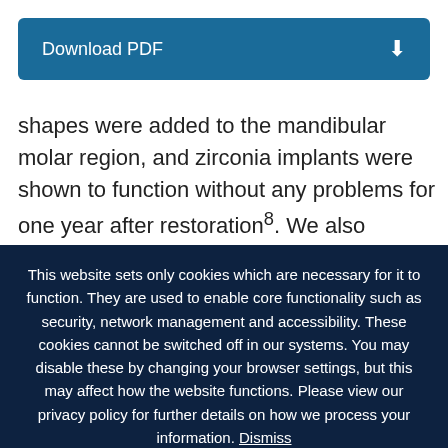[Figure (screenshot): Download PDF button with blue background and download icon arrow]
shapes were added to the mandibular molar region, and zirconia implants were shown to function without any problems for one year after restoration⁸. We also attempted to install commercially available
This website sets only cookies which are necessary for it to function. They are used to enable core functionality such as security, network management and accessibility. These cookies cannot be switched off in our systems. You may disable these by changing your browser settings, but this may affect how the website functions. Please view our privacy policy for further details on how we process your information. Dismiss